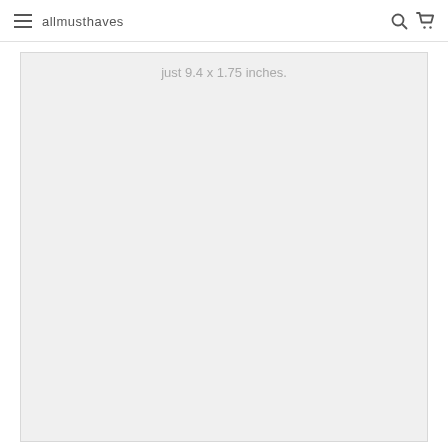allmusthaves
just 9.4 x 1.75 inches.